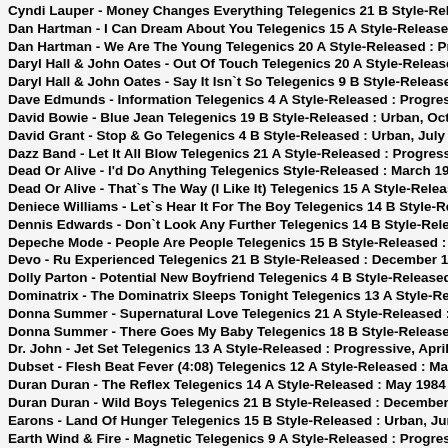Cyndi Lauper - Money Changes Everything Telegenics 21 B Style-Release...
Dan Hartman - I Can Dream About You Telegenics 15 A Style-Released : P...
Dan Hartman - We Are The Young Telegenics 20 A Style-Released : Progr...
Daryl Hall & John Oates - Out Of Touch Telegenics 20 A Style-Released : ...
Daryl Hall & John Oates - Say It Isn`t So Telegenics 9 B Style-Released : ...
Dave Edmunds - Information Telegenics 4 A Style-Released : Progressive,...
David Bowie - Blue Jean Telegenics 19 B Style-Released : Urban, Octobe...
David Grant - Stop & Go Telegenics 4 B Style-Released : Urban, July 1983...
Dazz Band - Let It All Blow Telegenics 21 A Style-Released : Progressive,...
Dead Or Alive - I'd Do Anything Telegenics Style-Released : March 1984
Dead Or Alive - That`s The Way (I Like It) Telegenics 15 A Style-Released...
Deniece Williams - Let`s Hear It For The Boy Telegenics 14 B Style-Relea...
Dennis Edwards - Don`t Look Any Further Telegenics 14 B Style-Released...
Depeche Mode - People Are People Telegenics 15 B Style-Released : Urb...
Devo - Ru Experienced Telegenics 21 B Style-Released : December 1984...
Dolly Parton - Potential New Boyfriend Telegenics 4 B Style-Released : Ur...
Dominatrix - The Dominatrix Sleeps Tonight Telegenics 13 A Style-Release...
Donna Summer - Supernatural Love Telegenics 21 A Style-Released : Pro...
Donna Summer - There Goes My Baby Telegenics 18 B Style-Released : S...
Dr. John - Jet Set Telegenics 13 A Style-Released : Progressive, April 1984...
Dubset - Flesh Beat Fever (4:08) Telegenics 12 A Style-Released : March...
Duran Duran - The Reflex Telegenics 14 A Style-Released : May 1984
Duran Duran - Wild Boys Telegenics 21 B Style-Released : December 198...
Earons - Land Of Hunger Telegenics 15 B Style-Released : Urban, Juny 1...
Earth Wind & Fire - Magnetic Telegenics 9 A Style-Released : Progressive,...
Eartha Kitt - I Love Men Telegenics 17 A Style-Released : August 1984
EBN OZN - AEIOU Sometimes Telegenics 4 A Style-Released : Progressi...